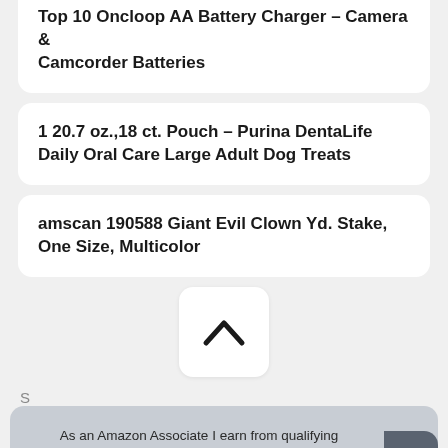Top 10 Oncloop AA Battery Charger – Camera & Camcorder Batteries
1 20.7 oz.,18 ct. Pouch – Purina DentaLife Daily Oral Care Large Adult Dog Treats
amscan 190588 Giant Evil Clown Yd. Stake, One Size, Multicolor
[Figure (other): Scroll-up chevron button (white rounded card with upward chevron arrow)]
As an Amazon Associate I earn from qualifying purchases. This website uses the only necessary cookies to ensure you get the best experience on our website. More information